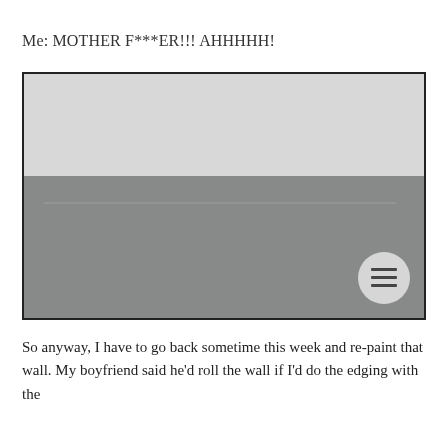Me: MOTHER F***ER!!! AHHHHH!
[Figure (photo): Photo of a wall with two sections: upper portion painted light grey/white, lower portion painted medium grey, showing an uneven paint line between the two colors.]
So anyway, I have to go back sometime this week and re-paint that wall. My boyfriend said he'd roll the wall if I'd do the edging with the